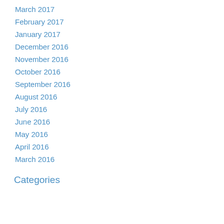March 2017
February 2017
January 2017
December 2016
November 2016
October 2016
September 2016
August 2016
July 2016
June 2016
May 2016
April 2016
March 2016
Categories